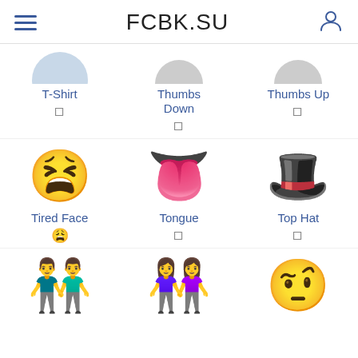FCBK.SU
T-Shirt
Thumbs Down
Thumbs Up
[Figure (illustration): Tired Face emoji - yellow face with X eyes and open mouth]
Tired Face
[Figure (illustration): Tongue emoji - mouth with tongue sticking out]
Tongue
[Figure (illustration): Top Hat emoji - black top hat with red band]
Top Hat
[Figure (illustration): Two men holding hands emoji]
[Figure (illustration): Two women holding hands emoji]
[Figure (illustration): Raised eyebrow / unamused face emoji]